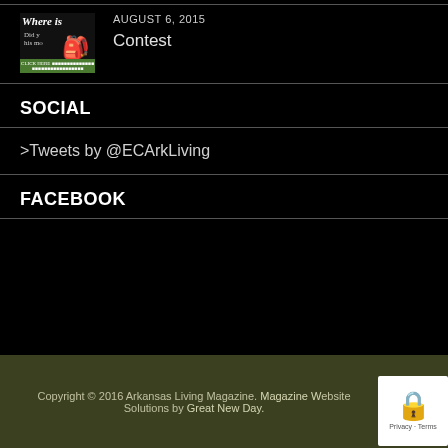[Figure (screenshot): Thumbnail image with 'Around Arkansas' text overlay on dark nature background]
AUGUST 6, 2015
Contest
SOCIAL
>Tweets by @ECArkLiving
FACEBOOK
Copyright © 2016 Arkansas Living Magazine. Magazine Website Solutions by Great New Day.